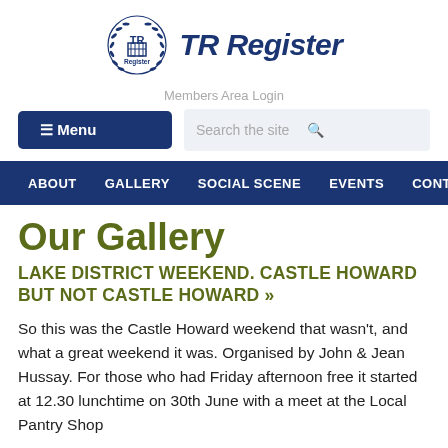[Figure (logo): TR Register logo: circular laurel wreath emblem with TR Register text in bold italic navy blue]
Members Area Login
≡ Menu
Search the site
ABOUT   GALLERY   SOCIAL SCENE   EVENTS   CONTACT G
Our Gallery
LAKE DISTRICT WEEKEND. CASTLE HOWARD BUT NOT CASTLE HOWARD »
So this was the Castle Howard weekend that wasn't, and what a great weekend it was. Organised by John & Jean Hussay. For those who had Friday afternoon free it started at 12.30 lunchtime on 30th June with a meet at the Local Pantry Shop